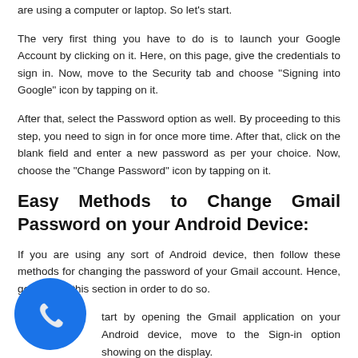are using a computer or laptop. So let's start.
The very first thing you have to do is to launch your Google Account by clicking on it. Here, on this page, give the credentials to sign in. Now, move to the Security tab and choose "Signing into Google" icon by tapping on it.
After that, select the Password option as well. By proceeding to this step, you need to sign in for once more time. After that, click on the blank field and enter a new password as per your choice. Now, choose the "Change Password" icon by tapping on it.
Easy Methods to Change Gmail Password on your Android Device:
If you are using any sort of Android device, then follow these methods for changing the password of your Gmail account. Hence, go through this section in order to do so.
Start by opening the Gmail application on your Android move to the Sign-in option showing on the display.
you require to give the email address or phone number, or your Gmail username. Next, choose the Next option.
[Figure (illustration): Blue circular phone/call button icon in the bottom-left corner of the page]